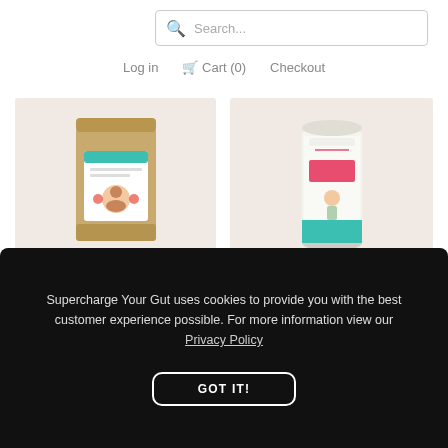Search...
Log in   Cart (0)   Checkout
[Figure (photo): Kraft paper bag product: Supercharged Food Love Your Gut Powder, with label showing logo and branding on beige background]
[Figure (photo): Cylindrical canister product: Supercharged Food Love Your Gut Capsules, white and teal container with illustrated label on beige background]
SUPERCHARGED FOOD LOVE YOUR GUT POWDER
SUPERCHARGED FOOD LOVE YOUR GUT CAPSULES
Supercharge Your Gut uses cookies to provide you with the best customer experience possible. For more information view our Privacy Policy
GOT IT!